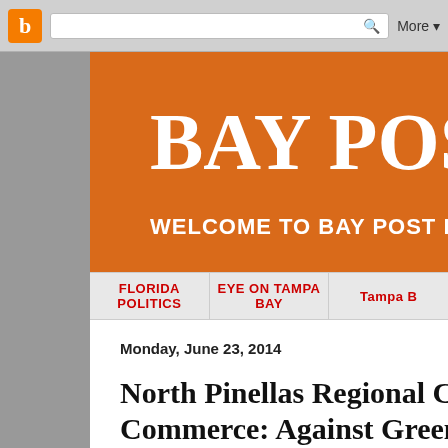[Figure (screenshot): Browser chrome bar with Blogger orange icon, search bar with magnifying glass icon, and More dropdown button]
BAY POST I
WELCOME TO BAY POST INTERNE
FLORIDA POLITICS   EYE ON TAMPA BAY   Tampa B
Monday, June 23, 2014
North Pinellas Regional Cha Commerce: Against Greenlig